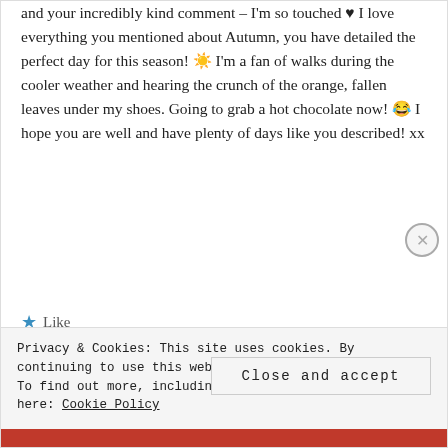and your incredibly kind comment – I'm so touched ♥ I love everything you mentioned about Autumn, you have detailed the perfect day for this season! 🌤️ I'm a fan of walks during the cooler weather and hearing the crunch of the orange, fallen leaves under my shoes. Going to grab a hot chocolate now! 😂 I hope you are well and have plenty of days like you described! xx
★ Like
REPLY ↩
Privacy & Cookies: This site uses cookies. By continuing to use this website, you agree to their use. To find out more, including how to control cookies, see here: Cookie Policy
Close and accept